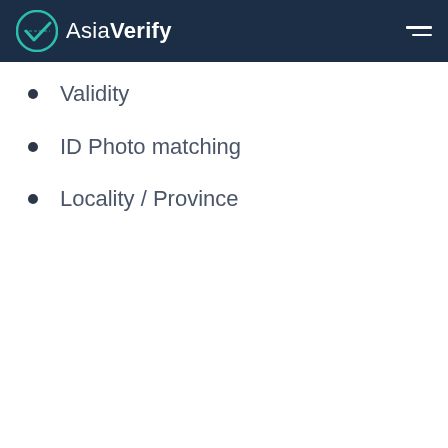AsiaVerify
Validity
ID Photo matching
Locality / Province